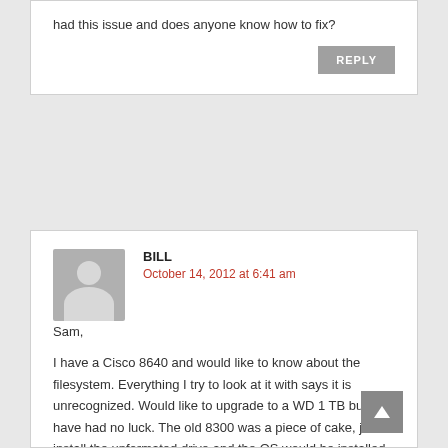had this issue and does anyone know how to fix?
REPLY
BILL
October 14, 2012 at 6:41 am
Sam,
I have a Cisco 8640 and would like to know about the filesystem. Everything I try to look at it with says it is unrecognized. Would like to upgrade to a WD 1 TB but have had no luck. The old 8300 was a piece of cake, just install the unformated drive and the OS would be installed. Any ideas on how to upgrade the 8640? Thanks in advance for whatever light you may be able to shed